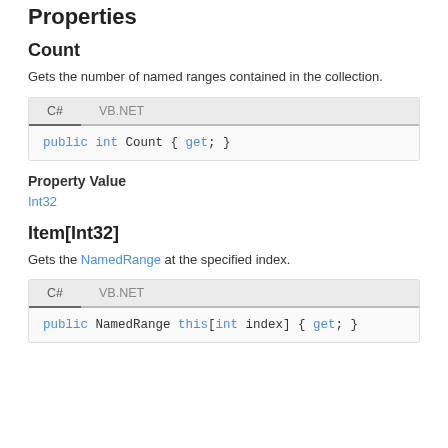Properties
Count
Gets the number of named ranges contained in the collection.
[Figure (screenshot): Code block with C# and VB.NET tabs showing: public int Count { get; }]
Property Value
Int32
Item[Int32]
Gets the NamedRange at the specified index.
[Figure (screenshot): Code block with C# and VB.NET tabs showing: public NamedRange this[int index] { get; }]